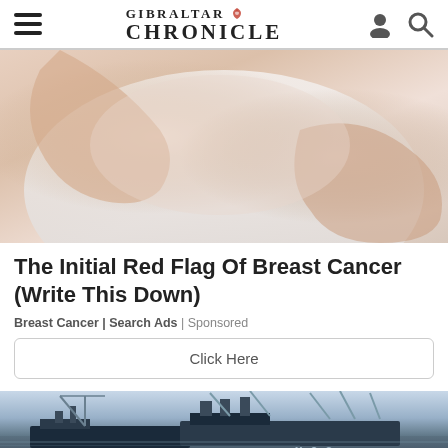GIBRALTAR CHRONICLE
[Figure (photo): Close-up photo of a person in a white tank top with hands examining chest area, related to breast cancer awareness]
The Initial Red Flag Of Breast Cancer (Write This Down)
Breast Cancer | Search Ads | Sponsored
Click Here
[Figure (photo): Harbor/port scene with large MSC cargo ships and cranes at a shipping terminal]